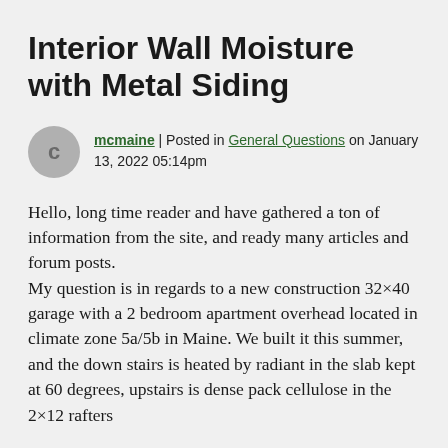Interior Wall Moisture with Metal Siding
mcmaine | Posted in General Questions on January 13, 2022 05:14pm
Hello, long time reader and have gathered a ton of information from the site, and ready many articles and forum posts.
My question is in regards to a new construction 32×40 garage with a 2 bedroom apartment overhead located in climate zone 5a/5b in Maine. We built it this summer, and the down stairs is heated by radiant in the slab kept at 60 degrees, upstairs is dense pack cellulose in the 2×12 rafters